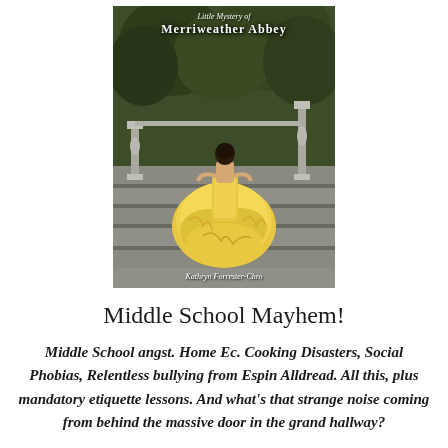[Figure (illustration): Book cover for 'Little Mystery of Merriweather Abbey' by Kathryn Forrester-Chro. Shows a woman in a large yellow ball gown walking up stone stairs with balustrades, surrounded by greenery. White script title text at top, author name at bottom.]
Middle School Mayhem!
Middle School angst. Home Ec. Cooking Disasters, Social Phobias, Relentless bullying from Espin Alldread. All this, plus mandatory etiquette lessons. And what's that strange noise coming from behind the massive door in the grand hallway?